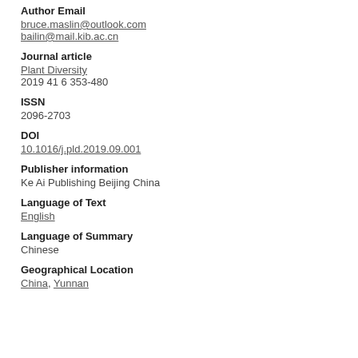Author Email
bruce.maslin@outlook.com
bailin@mail.kib.ac.cn
Journal article
Plant Diversity
2019 41 6 353-480
ISSN
2096-2703
DOI
10.1016/j.pld.2019.09.001
Publisher information
Ke Ai Publishing Beijing China
Language of Text
English
Language of Summary
Chinese
Geographical Location
China, Yunnan